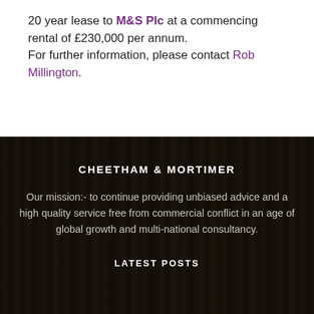20 year lease to M&S Plc at a commencing rental of £230,000 per annum.
For further information, please contact Rob Millington.
[Figure (photo): Dark background image of bookshelves with overlay, used as footer section background]
CHEETHAM & MORTIMER
Our mission:- to continue providing unbiased advice and a high quality service free from commercial conflict in an age of global growth and multi-national consultancy.
LATEST POSTS